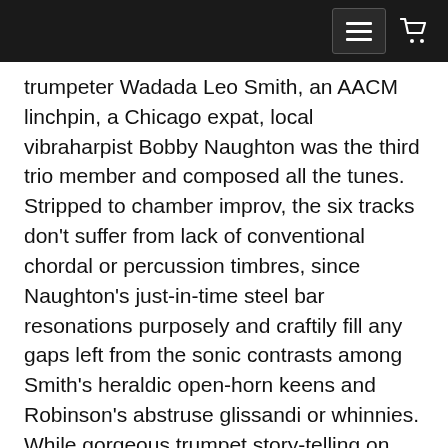[navigation bar with menu and cart icons]
trumpeter Wadada Leo Smith, an AACM linchpin, a Chicago expat, local vibraharpist Bobby Naughton was the third trio member and composed all the tunes. Stripped to chamber improv, the six tracks don’t suffer from lack of conventional chordal or percussion timbres, since Naughton’s just-in-time steel bar resonations purposely and craftily fill any gaps left from the sonic contrasts among Smith’s heraldic open-horn keens and Robinson’s abstruse glissandi or whinnies. While gorgeous trumpet story-telling on tracks such as “Places” moves with contrapuntal injections from shrill clarinet pitches from polychromatic expanse to uncomfortable abstraction, mallet-chiming pops prevent this. Instead shimmering vibes tones help assume a forward-moving group pulse. Skillful in adding diaphanous, but not delicate, mallet strokes that ring like toy piano keys; or adding extra